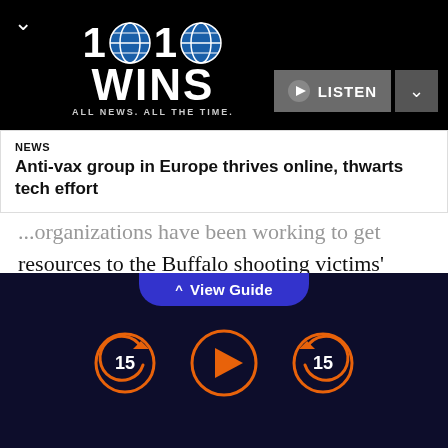[Figure (logo): 1010 WINS radio station logo with globe icons, tagline ALL NEWS. ALL THE TIME., and LISTEN button]
NEWS
Anti-vax group in Europe thrives online, thwarts tech effort
...organizations have been working to get resources to the Buffalo shooting victims' families, including access to mental health care. Phylicia Brown, executive director of Black Love Resists in the Rust, said the member-led, abolitionist organization has been collecting donations to provide access to mental health services...
[Figure (screenshot): View Guide tab and audio playback controls: skip back 15, play, skip forward 15 buttons on dark navy background]